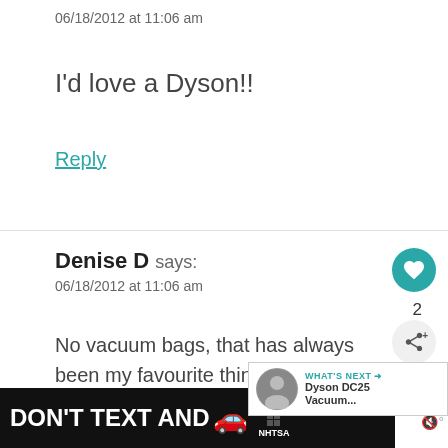06/18/2012 at 11:06 am
I'd love a Dyson!!
Reply
Denise D says:
06/18/2012 at 11:06 am
No vacuum bags, that has always been my favourite thing about Dyson's – plus their suction!
[Figure (screenshot): What's Next promotional overlay showing Dyson DC25 Vacuum with arrow and teal label]
[Figure (infographic): DON'T TEXT AND [car emoji] NHTSA advertisement banner in black background]